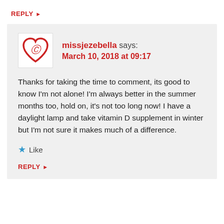REPLY ▸
missjezebella says:
March 10, 2018 at 09:17
Thanks for taking the time to comment, its good to know I'm not alone! I'm always better in the summer months too, hold on, it's not too long now! I have a daylight lamp and take vitamin D supplement in winter but I'm not sure it makes much of a difference.
★ Like
REPLY ▸